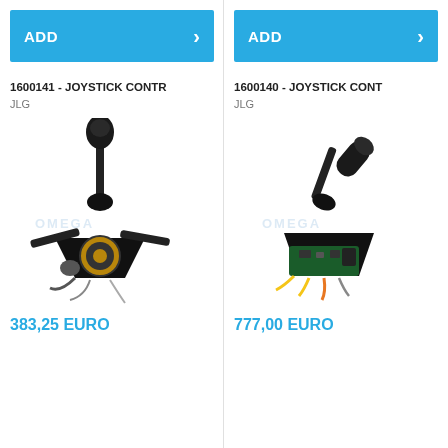[Figure (screenshot): ADD button with right arrow chevron, cyan/blue background, left product column]
1600141 - JOYSTICK CONTR
JLG
[Figure (photo): Joystick controller product photo - black joystick with circular base and wiring, item 1600141]
383,25 EURO
[Figure (screenshot): ADD button with right arrow chevron, cyan/blue background, right product column]
1600140 - JOYSTICK CONT
JLG
[Figure (photo): Joystick controller product photo - black joystick with triangular base and colored wiring, item 1600140]
777,00 EURO